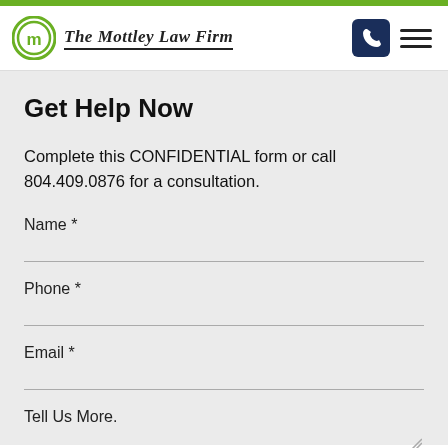[Figure (logo): The Mottley Law Firm logo with circular M icon and text]
Get Help Now
Complete this CONFIDENTIAL form or call 804.409.0876 for a consultation.
Name *
Phone *
Email *
Tell Us More.